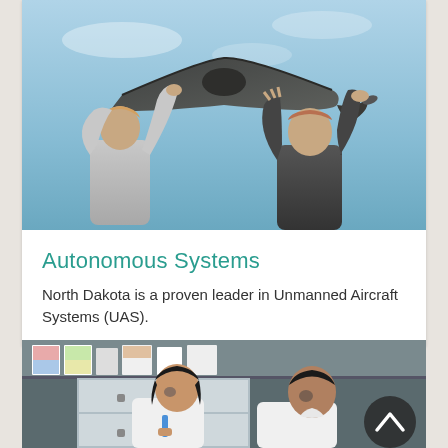[Figure (photo): Two people outdoors holding up a dark unmanned aircraft (UAS/drone) against a blue sky, examining its underside. One person appears to be a woman in a light-colored shirt, the other a man in a dark shirt.]
Autonomous Systems
North Dakota is a proven leader in Unmanned Aircraft Systems (UAS).
[Figure (photo): Two researchers in a laboratory setting — a woman and a man both wearing white lab coats — looking downward at something on a lab bench. Shelving with boxes is visible in the background. A semi-transparent circular scroll-up navigation button is overlaid in the bottom-right corner.]